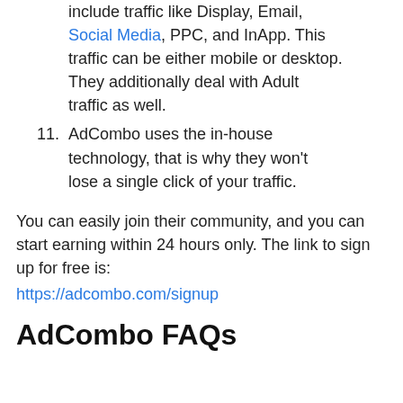include traffic like Display, Email, Social Media, PPC, and InApp. This traffic can be either mobile or desktop. They additionally deal with Adult traffic as well.
11. AdCombo uses the in-house technology, that is why they won't lose a single click of your traffic.
You can easily join their community, and you can start earning within 24 hours only. The link to sign up for free is:
https://adcombo.com/signup
AdCombo FAQs